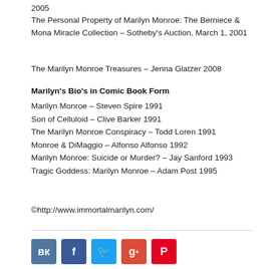2005
The Personal Property of Marilyn Monroe: The Berniece & Mona Miracle Collection – Sotheby's Auction, March 1, 2001
The Marilyn Monroe Treasures – Jenna Glatzer 2008
Marilyn's Bio's in Comic Book Form
Marilyn Monroe – Steven Spire 1991
Son of Celluloid – Clive Barker 1991
The Marilyn Monroe Conspiracy – Todd Loren 1991
Monroe & DiMaggio – Alfonso Alfonso 1992
Marilyn Monroe: Suicide or Murder? – Jay Sanford 1993
Tragic Goddess: Marilyn Monroe – Adam Post 1995
©http://www.immortalmarilyn.com/
[Figure (infographic): Social media sharing icons: VK (blue), Facebook (dark blue), Twitter (light blue), Google+ (red), Pinterest (red)]